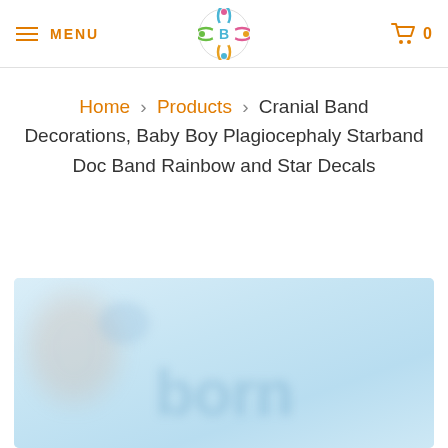MENU | [logo] | 0
Home > Products > Cranial Band Decorations, Baby Boy Plagiocephaly Starband Doc Band Rainbow and Star Decals
[Figure (photo): Blurred product photo showing cranial band decorations with rainbow and star decals on a light blue background]